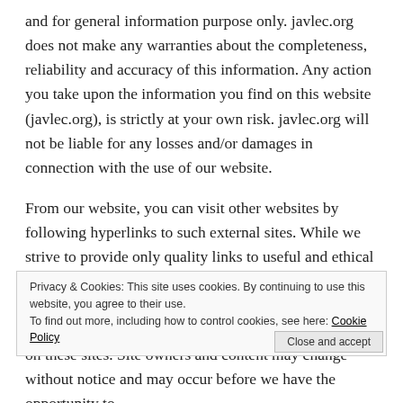and for general information purpose only. javlec.org does not make any warranties about the completeness, reliability and accuracy of this information. Any action you take upon the information you find on this website (javlec.org), is strictly at your own risk. javlec.org will not be liable for any losses and/or damages in connection with the use of our website.
From our website, you can visit other websites by following hyperlinks to such external sites. While we strive to provide only quality links to useful and ethical websites, we have no control over the content and nature of these sites. These links to other websites do not imply a recommendation for all the content found on these sites. Site owners and content may change without notice and may occur before we have the opportunity to
remove a link which may have gone 'bad'.
Please be also aware that when you leave our website, other sites may have different privacy policies and terms which are beyond our control. Please be sure to check the Privacy Policies of these sites as well as their "Terms of Service" before engaging in any business or uploading any information.
Privacy & Cookies: This site uses cookies. By continuing to use this website, you agree to their use. To find out more, including how to control cookies, see here: Cookie Policy
Close and accept